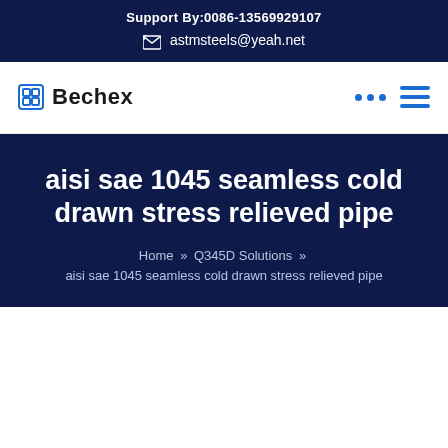Support By:0086-13569929107
astmsteels@yeah.net
Bechex
aisi sae 1045 seamless cold drawn stress relieved pipe
Home » Q345D Solutions » aisi sae 1045 seamless cold drawn stress relieved pipe